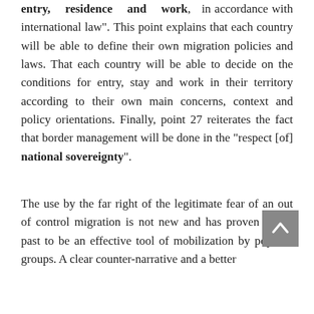entry, residence and work, in accordance with international law". This point explains that each country will be able to define their own migration policies and laws. That each country will be able to decide on the conditions for entry, stay and work in their territory according to their own main concerns, context and policy orientations. Finally, point 27 reiterates the fact that border management will be done in the “respect [of] national sovereignty”.

The use by the far right of the legitimate fear of an out of control migration is not new and has proven in the past to be an effective tool of mobilization by populist groups. A clear counter-narrative and a better